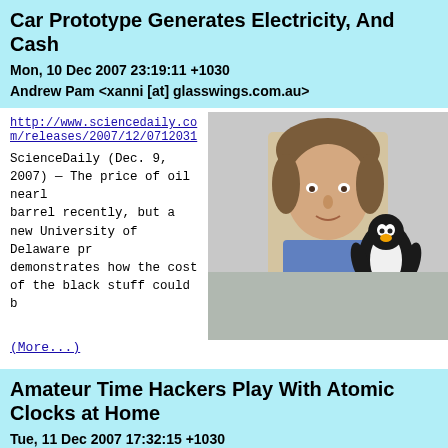Car Prototype Generates Electricity, And Cash
Mon, 10 Dec 2007 23:19:11 +1030
Andrew Pam <xanni [at] glasswings.com.au>
[Figure (photo): Man holding a Linux Tux penguin plush toy]
http://www.sciencedaily.com/releases/2007/12/0712031...
ScienceDaily (Dec. 9, 2007) — The price of oil nearl barrel recently, but a new University of Delaware pr demonstrates how the cost of the black stuff could b
(More...)
Amateur Time Hackers Play With Atomic Clocks at Home
Tue, 11 Dec 2007 17:32:15 +1030
Andrew Pam <xanni [at] glasswings.com.au>
[Figure (photo): Person photo, partially visible at bottom of page]